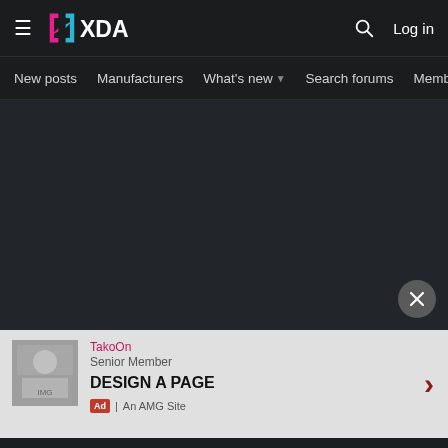XDA — Navigation bar with hamburger menu, XDA logo, search icon, Log in
New posts | Manufacturers | What's new ▾ | Search forums | Membe | >
[Figure (screenshot): Dark empty content area with a circular close (×) button in the bottom-right corner]
TakoOn
Senior Member
DESIGN A PAGE
Ad | An AMG Site
Apr 25, 2022